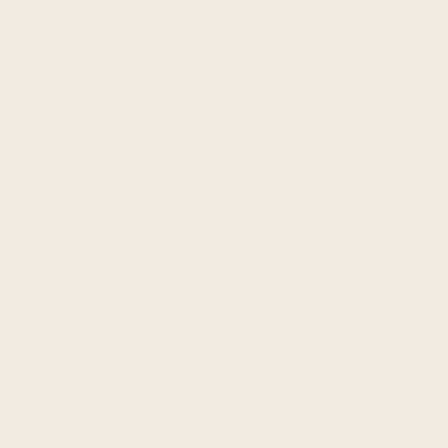[Figure (screenshot): Partial view of a webpage showing a product listing page. Left side shows a cream/beige background panel. A vertical separator bar divides the layout. On the right side, partially visible, there is a product card with an orange-colored product photo (appears to be a toy train set or model with orange containers), a buy button partially showing 'Bu' in red text. Below that is another product image showing a green surface with a dark model train.]